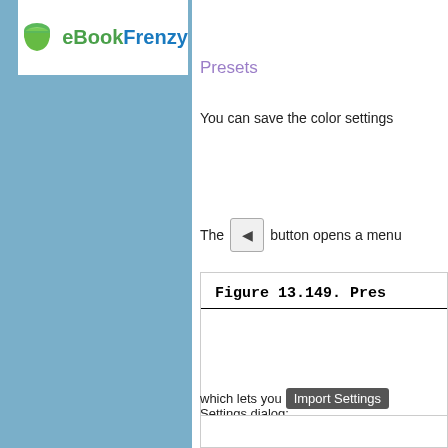[Figure (logo): eBookFrenzy logo with green book icon and two-color text]
Presets
You can save the color settings
The [button] button opens a menu
[Figure (screenshot): Figure 13.149. Pres... - dialog box screenshot]
which lets you Import Settings Settings dialog:
[Figure (screenshot): Bottom partial screenshot box]